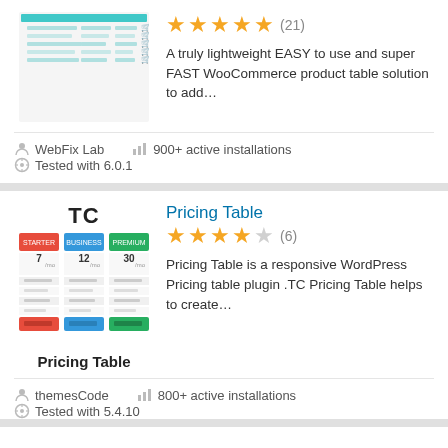[Figure (screenshot): WooCommerce product table plugin screenshot showing a table layout with cart icons]
★★★★★ (21)
A truly lightweight EASY to use and super FAST WooCommerce product table solution to add…
WebFix Lab
900+ active installations
Tested with 6.0.1
[Figure (screenshot): TC Pricing Table plugin logo showing TC text and a three-column pricing table graphic with Pricing Table label]
Pricing Table
★★★★☆ (6)
Pricing Table is a responsive WordPress Pricing table plugin .TC Pricing Table helps to create…
themesCode
800+ active installations
Tested with 5.4.10